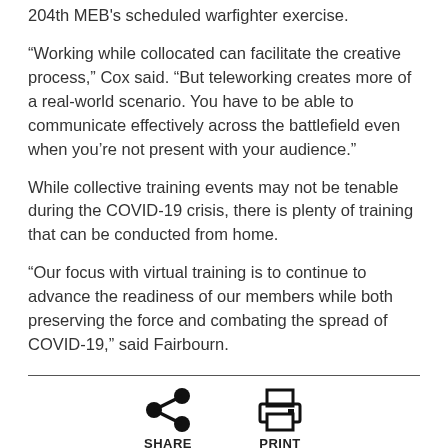204th MEB's scheduled warfighter exercise.
“Working while collocated can facilitate the creative process,” Cox said. “But teleworking creates more of a real-world scenario. You have to be able to communicate effectively across the battlefield even when you’re not present with your audience.”
While collective training events may not be tenable during the COVID-19 crisis, there is plenty of training that can be conducted from home.
“Our focus with virtual training is to continue to advance the readiness of our members while both preserving the force and combating the spread of COVID-19,” said Fairbourn.
[Figure (other): Share and Print icons with labels at the bottom of the page]